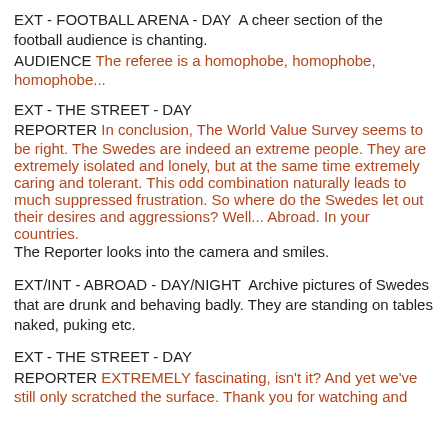EXT - FOOTBALL ARENA - DAY  A cheer section of the football audience is chanting.
AUDIENCE The referee is a homophobe, homophobe, homophobe...
EXT - THE STREET - DAY
REPORTER In conclusion, The World Value Survey seems to be right. The Swedes are indeed an extreme people. They are extremely isolated and lonely, but at the same time extremely caring and tolerant. This odd combination naturally leads to much suppressed frustration. So where do the Swedes let out their desires and aggressions? Well... Abroad. In your countries.
The Reporter looks into the camera and smiles.
EXT/INT - ABROAD - DAY/NIGHT  Archive pictures of Swedes that are drunk and behaving badly. They are standing on tables naked, puking etc.
EXT - THE STREET - DAY
REPORTER EXTREMELY fascinating, isn't it? And yet we've still only scratched the surface. Thank you for watching and